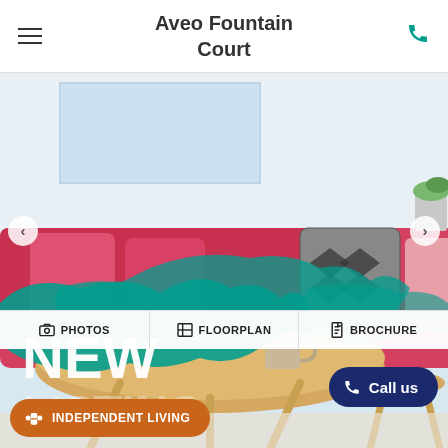Aveo Fountain Court
[Figure (photo): Interior photo of a living room with a pink/red sofa, colorful pillows, a wooden coffee table with a mug, and a small side table. Teal paint brush stroke overlay with text NEW and LISTING partially visible. Navigation arrows on left and right sides.]
PHOTOS
FLOORPLAN
BROCHURE
Call us
INDEPENDENT LIVING